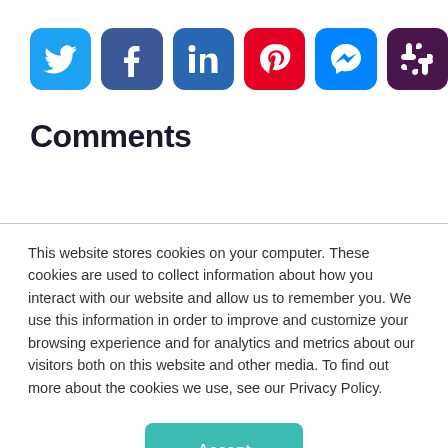[Figure (other): Row of six social media icon buttons: Twitter (blue bird), Facebook (dark blue f), LinkedIn (blue in), Pinterest (red P), Messenger (blue lightning bolt), Slack (purple hash)]
Comments
This website stores cookies on your computer. These cookies are used to collect information about how you interact with our website and allow us to remember you. We use this information in order to improve and customize your browsing experience and for analytics and metrics about our visitors both on this website and other media. To find out more about the cookies we use, see our Privacy Policy.
Accept